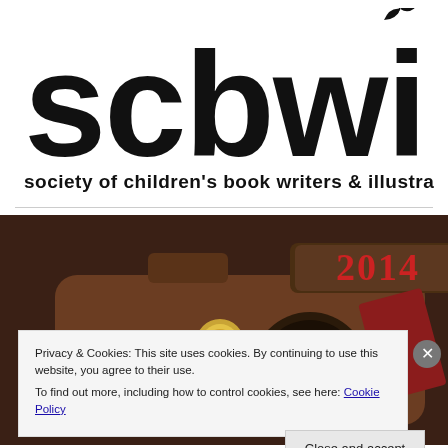[Figure (logo): SCBWI logo — large lowercase letters 'scbwi' with a small bird/butterfly illustration on the 'i', and below: 'society of children's book writers & illustrators']
[Figure (photo): A vintage-style camera graphic with '2014' in red text on top, and 'WOW' lettering with a gold medal seal on a dark brown background]
Privacy & Cookies: This site uses cookies. By continuing to use this website, you agree to their use.
To find out more, including how to control cookies, see here: Cookie Policy
Close and accept